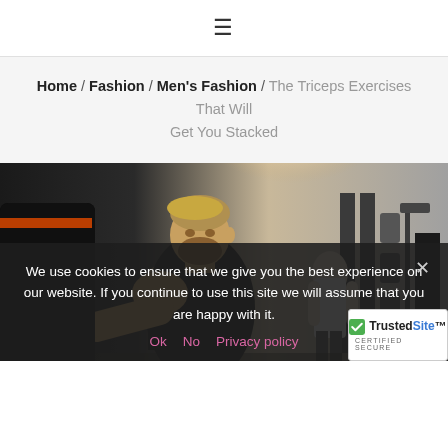≡
Home / Fashion / Men's Fashion / The Triceps Exercises That Will Get You Stacked
[Figure (photo): A muscular bearded man in a black tank top performing a triceps exercise at a gym, leaning forward with intense focus. Other gym-goers and equipment visible in the background.]
We use cookies to ensure that we give you the best experience on our website. If you continue to use this site we will assume that you are happy with it.
Ok   No   Privacy policy